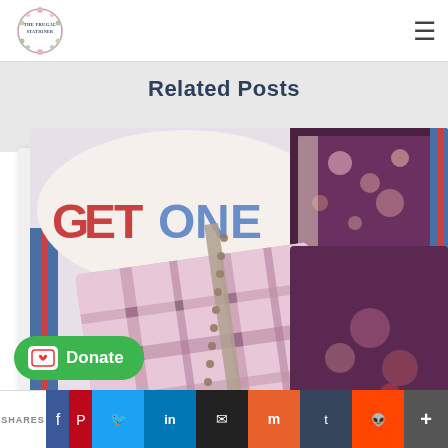The Frugal Stationer - navigation header
Related Posts
[Figure (photo): Product image showing planners/notebooks with 'GET ONE' text overlay, purple plaid and floral patterned covers with spiral binding, displayed against a white/gray background]
Donate
SHARES - social share bar with Facebook, Pinterest, Twitter, LinkedIn, Email, Mix, Tumblr, Reddit, and more buttons